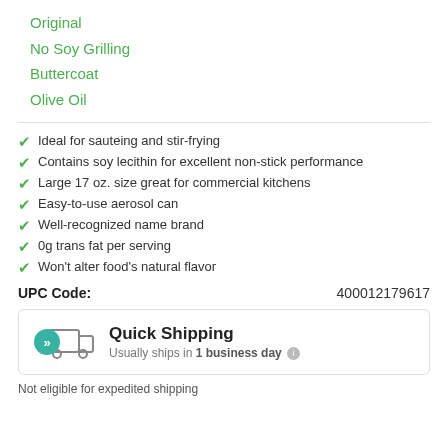Original
No Soy Grilling
Buttercoat
Olive Oil
Ideal for sauteing and stir-frying
Contains soy lecithin for excellent non-stick performance
Large 17 oz. size great for commercial kitchens
Easy-to-use aerosol can
Well-recognized name brand
0g trans fat per serving
Won't alter food's natural flavor
UPC Code: 400012179617
[Figure (infographic): Quick Shipping box with truck icon and teal double-arrow circle. Text: Quick Shipping. Usually ships in 1 business day.]
Not eligible for expedited shipping